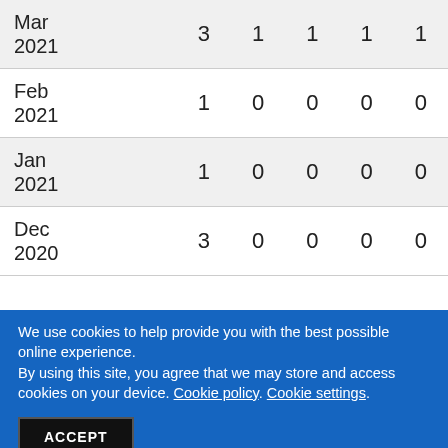|  |  |  |  |  |  |
| --- | --- | --- | --- | --- | --- |
| Mar
2021 | 3 | 1 | 1 | 1 | 1 |
| Feb
2021 | 1 | 0 | 0 | 0 | 0 |
| Jan
2021 | 1 | 0 | 0 | 0 | 0 |
| Dec
2020 | 3 | 0 | 0 | 0 | 0 |
We use cookies to help provide you with the best possible online experience.
By using this site, you agree that we may store and access cookies on your device. Cookie policy. Cookie settings.